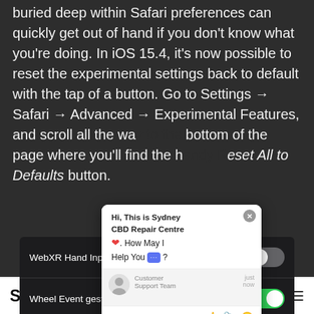buried deep within Safari preferences can quickly get out of hand if you don't know what you're doing. In iOS 15.4, it's now possible to reset the experimental settings back to default with the tap of a button. Go to Settings → Safari → Advanced → Experimental Features, and scroll all the way to the bottom of the page where you'll find the handy Reset All to Defaults button.
[Figure (screenshot): Chat widget popup from Sydney CBD Repair Centre with message 'Hi, This is Sydney CBD Repair Centre ❤️. How May I Help You 💬?' and customer support agent avatar, with a Type input area below.]
[Figure (screenshot): iOS Safari Experimental Features settings showing 'WebXR Hand Input Module' toggle (off) and 'Wheel Event gestures become non-...' toggle (on/green).]
SYDNEY CBD REPAIR CENTRE MENU ≡